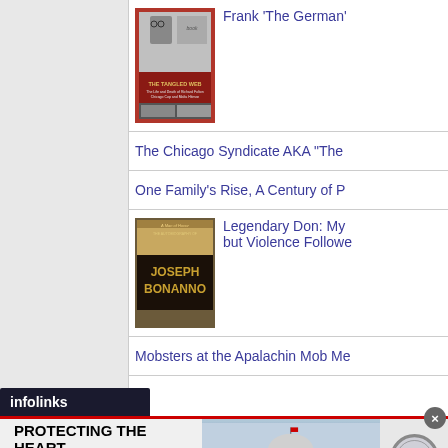[Figure (illustration): Book cover of 'The Tangled Web' with a person wearing glasses and text about Richard Fulton, Chicago cop and Mafia hitman]
Frank 'The German'
The Chicago Syndicate AKA "The
One Family's Rise, A Century of P
[Figure (illustration): Book cover of 'A Man of Honor: The Autobiography of Joseph Bonanno']
Legendary Don: My... but Violence Followe
Mobsters at the Apalachin Mob Me
[Figure (screenshot): Infolinks advertisement banner: US Capitol Police recruitment ad reading 'PROTECTING THE HEART OF AMERICA. EVERY DAY. JOIN THE US CAPITOL POLICE' with image of Capitol building and uscp.gov/careers URL]